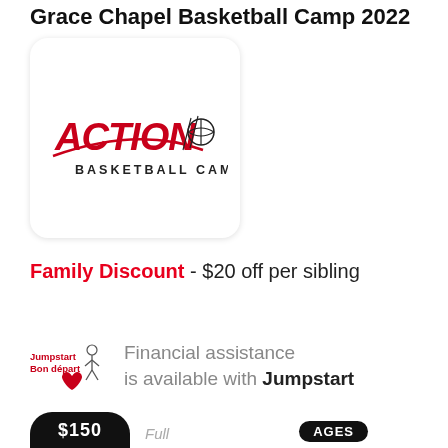Grace Chapel Basketball Camp 2022
[Figure (logo): Action Basketball Camps logo — red italic ACTION text with basketball icon, and BASKETBALL CAMPS subtitle in black]
Family Discount - $20 off per sibling
Financial assistance is available with Jumpstart
[Figure (logo): Jumpstart / Bon départ logo with red text and heart icon with figure]
AGES